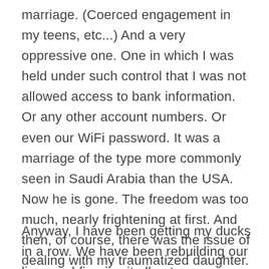marriage. (Coerced engagement in my teens, etc...) And a very oppressive one. One in which I was held under such control that I was not allowed access to bank information. Or any other account numbers. Or even our WiFi password. It was a marriage of the type more commonly seen in Saudi Arabia than the USA. Now he is gone. The freedom was too much, nearly frightening at first. And then, of course, there was the issue of dealing with my traumatized daughter. But she, for someone of her age, has managed to work on herself and overcome a lot. Though it hasn't been easy for her.
Anyway, I have been getting my ducks in a row. We have been rebuilding our lives and figuring it all out.